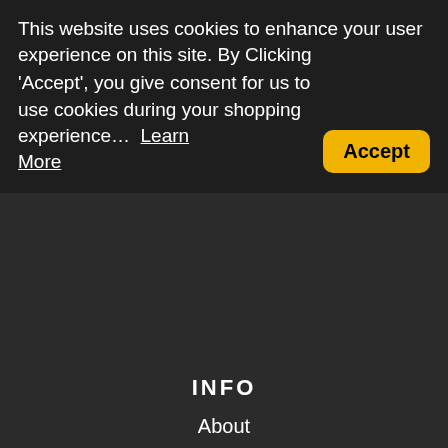This website uses cookies to enhance your user experience on this site. By Clicking 'Accept', you give consent for us to use cookies during your shopping experience… Learn More
Accept
INFO
About
Contact
Shipping
Return Policy
Terms & Conditions